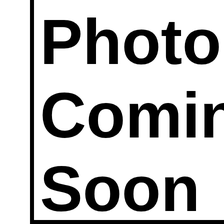[Figure (other): Placeholder image with text 'Photo Coming Soon' displayed in large bold black font on a white background, with a thick black vertical line on the left side and a thick black horizontal line at the bottom forming an L-shaped border.]